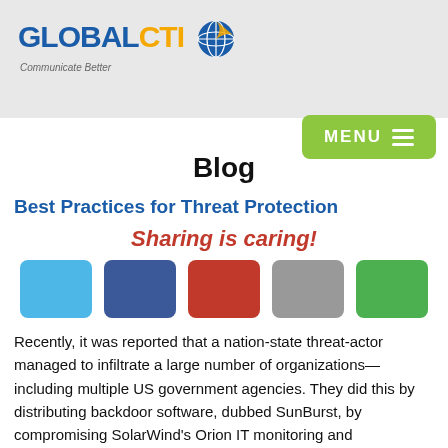[Figure (logo): GlobalCTI logo with globe icon and tagline 'Communicate Better' on a light gray header bar]
[Figure (other): Green MENU button with hamburger icon lines, positioned top right]
Blog
Best Practices for Threat Protection
Sharing is caring!
[Figure (other): Five social sharing icon buttons: light blue (Twitter), dark blue (Facebook), red (Google+), gray (LinkedIn), green (Email)]
Recently, it was reported that a nation-state threat-actor managed to infiltrate a large number of organizations—including multiple US government agencies. They did this by distributing backdoor software, dubbed SunBurst, by compromising SolarWind's Orion IT monitoring and management software update system. Based on